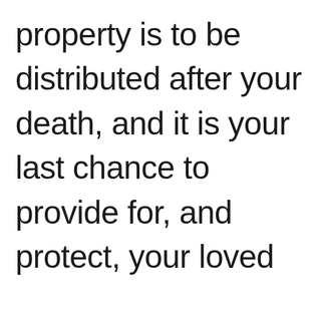property is to be distributed after your death, and it is your last chance to provide for, and protect, your loved